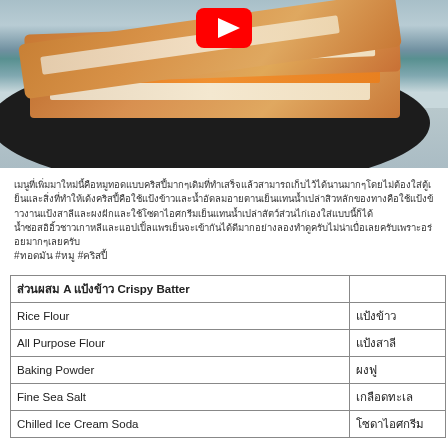[Figure (photo): Crispy battered food items on a dark plate with a YouTube play button overlay. The food appears to be deep-fried battered sandwiches or similar items sliced and arranged on a black plate on a light blue surface.]
Thai language description text about a crispy batter recipe
#태국어해시태그 #태국 #바삭바삭
| 재료 A 바삭한 바터 Crispy Batter |  |
| --- | --- |
| Rice Flour | 태국어 |
| All Purpose Flour | 태국어태국어 |
| Baking Powder | 태국어 |
| Fine Sea Salt | 태국어태국어 |
| Chilled Ice Cream Soda | 태국어태국어태국어 |